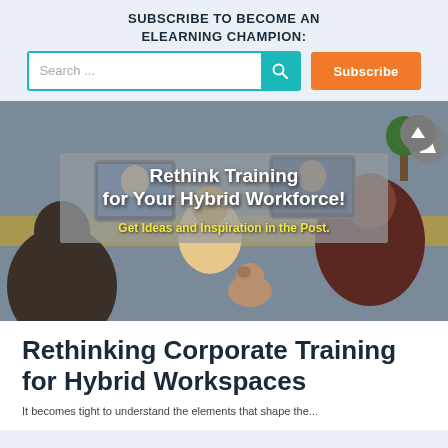SUBSCRIBE TO BECOME AN ELEARNING CHAMPION:
[Figure (screenshot): Search bar with teal background icon and orange Subscribe button]
[Figure (photo): Hero image showing hybrid workforce video conference meeting with overlay text: 'Rethink Training for Your Hybrid Workforce! Get Ideas and Inspiration in the Post.']
Rethinking Corporate Training for Hybrid Workspaces
It becomes tight to understand the elements...